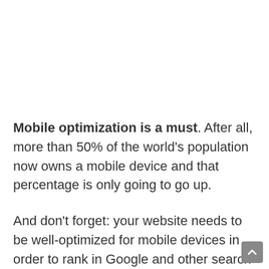Mobile optimization is a must. After all, more than 50% of the world's population now owns a mobile device and that percentage is only going to go up.
And don't forget: your website needs to be well-optimized for mobile devices in order to rank in Google and other search